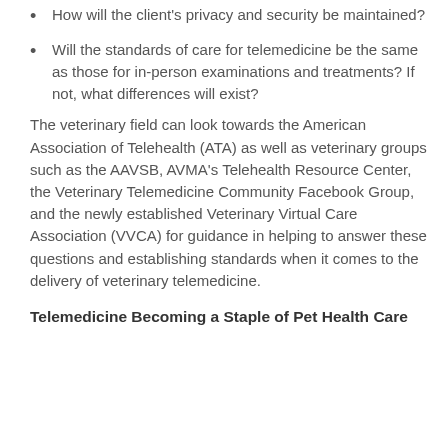How will the client's privacy and security be maintained?
Will the standards of care for telemedicine be the same as those for in-person examinations and treatments? If not, what differences will exist?
The veterinary field can look towards the American Association of Telehealth (ATA) as well as veterinary groups such as the AAVSB, AVMA's Telehealth Resource Center, the Veterinary Telemedicine Community Facebook Group, and the newly established Veterinary Virtual Care Association (VVCA) for guidance in helping to answer these questions and establishing standards when it comes to the delivery of veterinary telemedicine.
Telemedicine Becoming a Staple of Pet Health Care